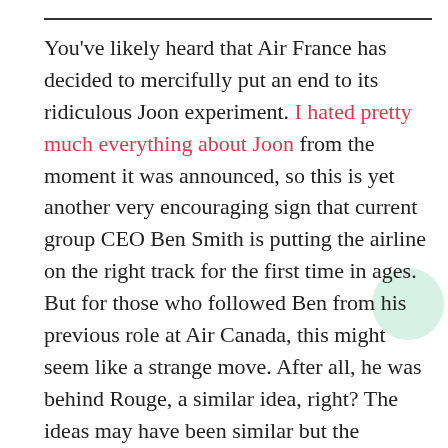You've likely heard that Air France has decided to mercifully put an end to its ridiculous Joon experiment. I hated pretty much everything about Joon from the moment it was announced, so this is yet another very encouraging sign that current group CEO Ben Smith is putting the airline on the right track for the first time in ages. But for those who followed Ben from his previous role at Air Canada, this might seem like a strange move. After all, he was behind Rouge, a similar idea, right? The ideas may have been similar but the execution was not. It's entirely consistent for Ben to back one and not the other.
I thought about doing a parody obituary for Joon as I did for Ted a decade ago — that remains one of my favorite